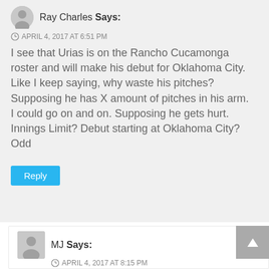Ray Charles Says:
APRIL 4, 2017 AT 6:51 PM
I see that Urias is on the Rancho Cucamonga roster and will make his debut for Oklahoma City.
Like I keep saying, why waste his pitches? Supposing he has X amount of pitches in his arm.
I could go on and on. Supposing he gets hurt. Innings Limit? Debut starting at Oklahoma City?
Odd
Reply
MJ Says:
APRIL 4, 2017 AT 8:15 PM